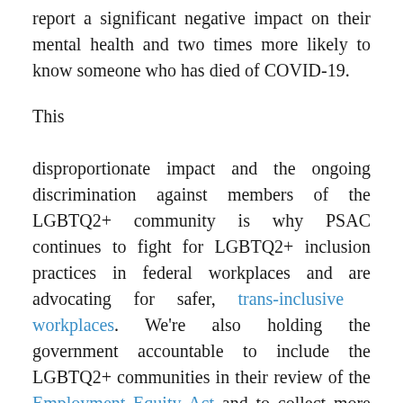report a significant negative impact on their mental health and two times more likely to know someone who has died of COVID-19.
This disproportionate impact and the ongoing discrimination against members of the LGBTQ2+ community is why PSAC continues to fight for LGBTQ2+ inclusion practices in federal workplaces and are advocating for safer, trans-inclusive workplaces. We're also holding the government accountable to include the LGBTQ2+ communities in their review of the Employment Equity Act and to collect more meaningful census data to protect them under the Act, particularly after the LGBT Purge.